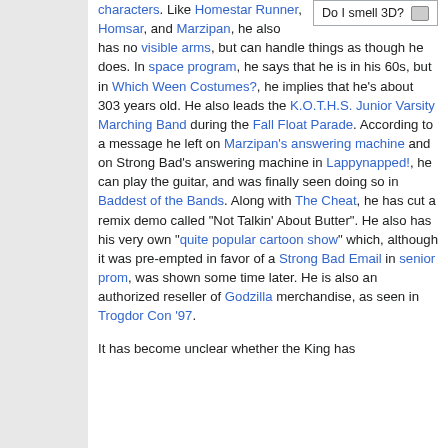characters. Like Homestar Runner, Homsar, and Marzipan, he also has no visible arms, but can handle things as though he does. In space program, he says that he is in his 60s, but in Which Ween Costumes?, he implies that he's about 303 years old. He also leads the K.O.T.H.S. Junior Varsity Marching Band during the Fall Float Parade. According to a message he left on Marzipan's answering machine and on Strong Bad's answering machine in Lappynapped!, he can play the guitar, and was finally seen doing so in Baddest of the Bands. Along with The Cheat, he has cut a remix demo called "Not Talkin' About Butter". He also has his very own "quite popular cartoon show" which, although it was pre-empted in favor of a Strong Bad Email in senior prom, was shown some time later. He is also an authorized reseller of Godzilla merchandise, as seen in Trogdor Con '97. It has become unclear whether the King has